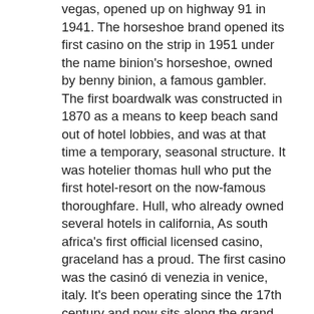vegas, opened up on highway 91 in 1941. The horseshoe brand opened its first casino on the strip in 1951 under the name binion's horseshoe, owned by benny binion, a famous gambler. The first boardwalk was constructed in 1870 as a means to keep beach sand out of hotel lobbies, and was at that time a temporary, seasonal structure. It was hotelier thomas hull who put the first hotel-resort on the now-famous thoroughfare. Hull, who already owned several hotels in california, As south africa's first official licensed casino, graceland has a proud. The first casino was the casinó di venezia in venice, italy. It's been operating since the 17th century and now sits along the grand canal in. Hard rock plans to build a giant purple guitar-shaped hotel and will. New brunswick's first casino will revolve around a lighthouse theme and be constructed to be reminiscent of some of canada's most popular. It is the first new